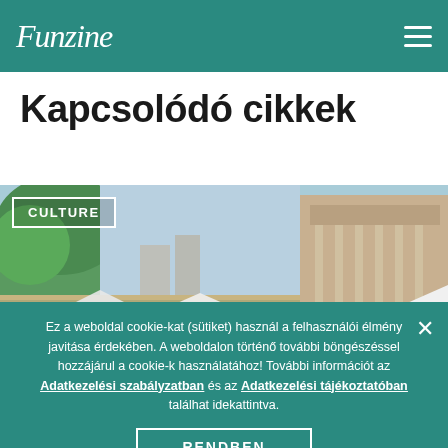Funzine
Kapcsolódó cikkek
[Figure (photo): Outdoor city scene with a horse statue, trees, and classical architecture buildings with crowds below. CULTURE badge overlay in top left.]
Ez a weboldal cookie-kat (sütiket) használ a felhasználói élmény javitása érdekében. A weboldalon történő további böngészéssel hozzájárul a cookie-k használatához! További információt az Adatkezelési szabályzatban és az Adatkezelési tájékoztatóban találhat idekattintva.
RENDBEN